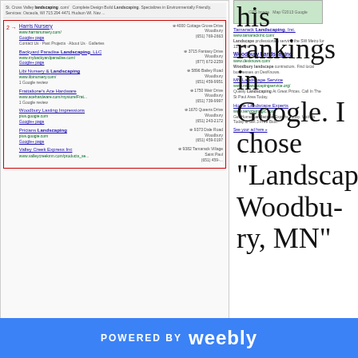[Figure (screenshot): Google search results page for 'Landscaping Woodbury MN' showing organic listings on left (businesses like Harris Nursery, Backyard Paradise Landscaping LLC, Libi Nursery & Landscaping, Frattalione's Ace Hardware, Woodbury Lasting Impressions, Pricians Landscaping, Valley Creek Express Inc) and paid ads / map results on right (Tamarack Landscaping Inc, Woodbury Landscaping, MN Landscape Service, Home Landscape Experts). Red border outlines the organic listings. A number '2' with arrow appears on the left side.]
Landscaping Woodbury, MN
his rankings in Google. I chose "Landscaping Woodbury, MN"
as its a more competitive search term and not as targeted as Shrub Trimming.
You can see his business does not rank on the first page for the query at hand.
I suggest Adding Geo-Tags to his website and pictures, also adding Alt-Image descriptions to every picture, I think I found 3 on his home-page that did not have any.
POWERED BY weebly